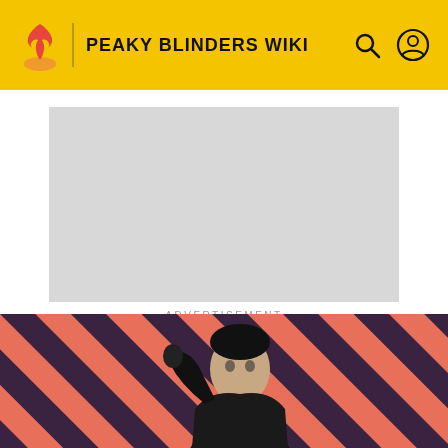PEAKY BLINDERS WIKI
[Figure (other): Advertisement placeholder - grey rectangle]
ADVERTISEMENT
PEAKY BLINDERS WIKI
Al Capone
[Figure (photo): Hero image of a dark-haired figure against a diagonal red and dark stripe pattern background]